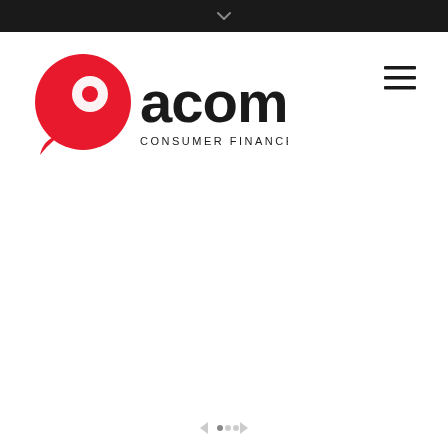[Figure (logo): ACOM Consumer Finance Corporation logo — red speech bubble icon on left, 'acom' in large bold black sans-serif text, 'CONSUMER FINANCE CORPORATION' in smaller black spaced capitals below]
[Figure (other): Hamburger menu icon — three horizontal black lines stacked]